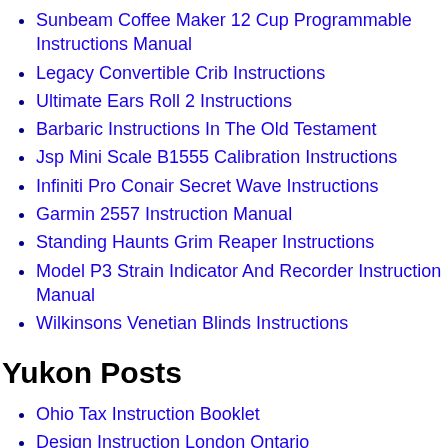Sunbeam Coffee Maker 12 Cup Programmable Instructions Manual
Legacy Convertible Crib Instructions
Ultimate Ears Roll 2 Instructions
Barbaric Instructions In The Old Testament
Jsp Mini Scale B1555 Calibration Instructions
Infiniti Pro Conair Secret Wave Instructions
Garmin 2557 Instruction Manual
Standing Haunts Grim Reaper Instructions
Model P3 Strain Indicator And Recorder Instruction Manual
Wilkinsons Venetian Blinds Instructions
Yukon Posts
Ohio Tax Instruction Booklet
Design Instruction London Ontario